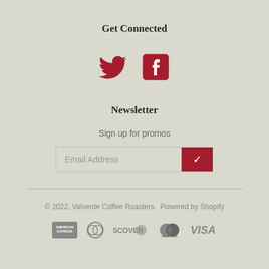Get Connected
[Figure (illustration): Twitter bird icon and Facebook 'f' icon in dark red/crimson color side by side]
Newsletter
Sign up for promos
[Figure (other): Email address input field with a dark red submit button containing a white checkmark]
© 2022, Valverde Coffee Roasters.  Powered by Shopify
[Figure (other): Payment method icons: American Express, Diners Club, Discover, MasterCard, Visa — all in gray]